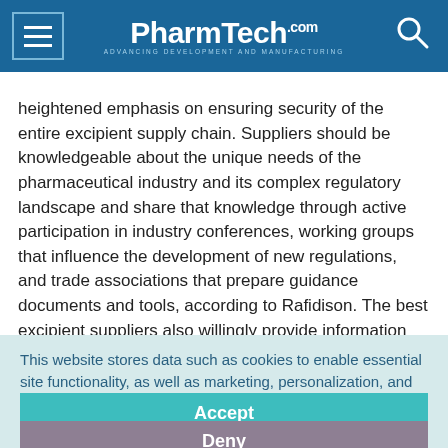PharmTech.com — Advancing Development and Manufacturing
heightened emphasis on ensuring security of the entire excipient supply chain. Suppliers should be knowledgeable about the unique needs of the pharmaceutical industry and its complex regulatory landscape and share that knowledge through active participation in industry conferences, working groups that influence the development of new regulations, and trade associations that prepare guidance documents and tools, according to Rafidison. The best excipient suppliers also willingly provide information needed for customers to
This website stores data such as cookies to enable essential site functionality, as well as marketing, personalization, and analytics. Cookie Policy
Accept
Deny